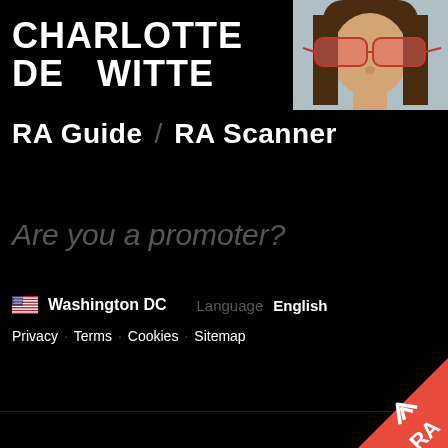CHARLOTTE DE WITTE
[Figure (photo): Photo of Charlotte De Witte wearing pink/red oversized sunglasses against a light blue-grey background]
RA Guide / RA Scanner
Are you a promoter?
Submit event
🇺🇸 Washington DC   Language  English   Privacy · Terms · Cookies · Sitemap